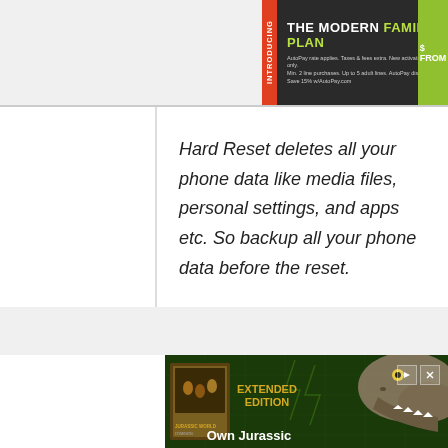[Figure (screenshot): Top banner advertisement: 'INTRODUCING THE MODERN FAMILY PLAN' with orange introducing tab, dark background, green highlighted text, small print disclaimer, and green price section cut off on right]
Hard Reset deletes all your phone data like media files, personal settings, and apps etc. So backup all your phone data before the reset.
[Figure (screenshot): Bottom advertisement banner: Jurassic World Extended Edition DVD/Blu-ray ad with dinosaur (T-Rex) image, dark green background, yellow 'EXTENDED EDITION' text, white 'Own Jurassic' text, play and close controls in top right]